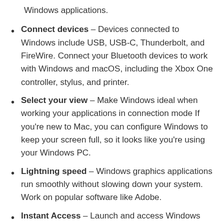Windows applications.
Connect devices – Devices connected to Windows include USB, USB-C, Thunderbolt, and FireWire. Connect your Bluetooth devices to work with Windows and macOS, including the Xbox One controller, stylus, and printer.
Select your view – Make Windows ideal when working your applications in connection mode If you're new to Mac, you can configure Windows to keep your screen full, so it looks like you're using your Windows PC.
Lightning speed – Windows graphics applications run smoothly without slowing down your system. Work on popular software like Adobe.
Instant Access – Launch and access Windows